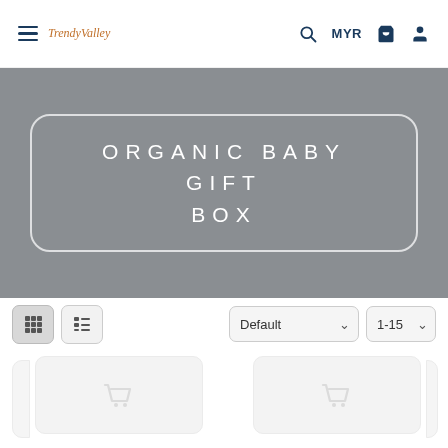TrendyValley — MYR
ORGANIC BABY GIFT BOX
Default | 1-15
[Figure (screenshot): Two placeholder product cards with cart icons in a grid layout]